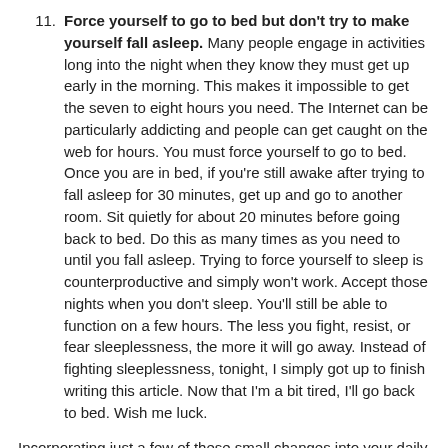11. Force yourself to go to bed but don't try to make yourself fall asleep. Many people engage in activities long into the night when they know they must get up early in the morning. This makes it impossible to get the seven to eight hours you need. The Internet can be particularly addicting and people can get caught on the web for hours. You must force yourself to go to bed. Once you are in bed, if you're still awake after trying to fall asleep for 30 minutes, get up and go to another room. Sit quietly for about 20 minutes before going back to bed. Do this as many times as you need to until you fall asleep. Trying to force yourself to sleep is counterproductive and simply won't work. Accept those nights when you don't sleep. You'll still be able to function on a few hours. The less you fight, resist, or fear sleeplessness, the more it will go away. Instead of fighting sleeplessness, tonight, I simply got up to finish writing this article. Now that I'm a bit tired, I'll go back to bed. Wish me luck.
Incorporating just a few of these small changes into your daily routine can make a big difference. Give them a try and start getting a better night's sleep tonight. If you still can't fall asleep after trying these techniques, it may be time to talk to your doctor. Sometimes insomnia is the result of a deeper medical or psychological